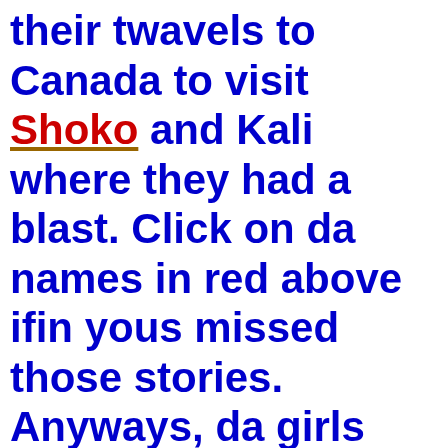their twavels to Canada to visit Shoko and Kali where they had a blast. Click on da names in red above ifin yous missed those stories. Anyways, da girls had a gweat time and sed their goodbyes and headed off fur da states again to visit moer